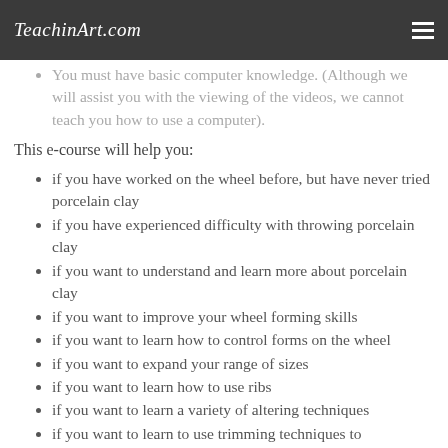TeachinArt.com
You must have basic computer knowledge. (Although we will assist you with the viewing of the videos, we cannot teach you how to use a computer).
This e-course will help you:
if you have worked on the wheel before, but have never tried porcelain clay
if you have experienced difficulty with throwing porcelain clay
if you want to understand and learn more about porcelain clay
if you want to improve your wheel forming skills
if you want to learn how to control forms on the wheel
if you want to expand your range of sizes
if you want to learn how to use ribs
if you want to learn a variety of altering techniques
if you want to learn to use trimming techniques to